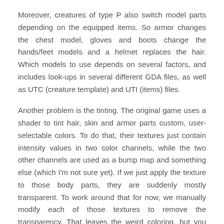Moreover, creatures of type P also switch model parts depending on the equipped items. So armor changes the chest model, gloves and boots change the hands/feet models and a helmet replaces the hair. Which models to use depends on several factors, and includes look-ups in several different GDA files, as well as UTC (creature template) and UTI (items) files.
Another problem is the tinting. The original game uses a shader to tint hair, skin and armor parts custom, user-selectable colors. To do that, their textures just contain intensity values in two color channels, while the two other channels are used as a bump map and something else (which I'm not sure yet). If we just apply the texture to those body parts, they are suddenly mostly transparent. To work around that for now, we manually modify each of those textures to remove the transparency. That leaves the weird coloring, but you can at least see all the body parts then.
[Figure (photo): A photograph showing body parts or armor textures with brownish/golden coloring, appearing to be from a 3D game engine view]